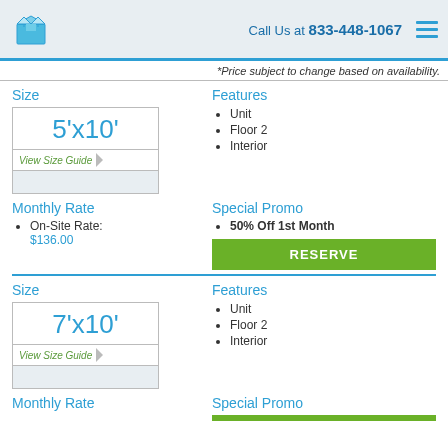Call Us at 833-448-1067
*Price subject to change based on availability.
Size
5'x10'
View Size Guide
Features
Unit
Floor 2
Interior
Monthly Rate
On-Site Rate: $136.00
Special Promo
50% Off 1st Month
RESERVE
Size
7'x10'
View Size Guide
Features
Unit
Floor 2
Interior
Monthly Rate
Special Promo